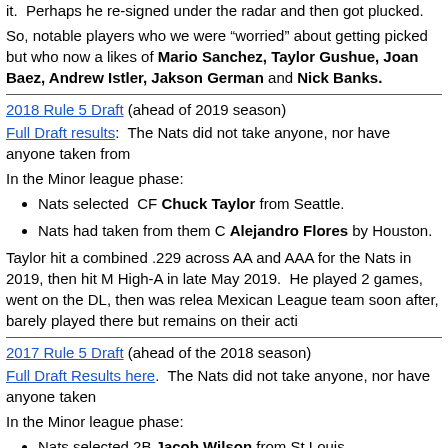it.  Perhaps he re-signed under the radar and then got plucked.
So, notable players who we were “worried” about getting picked but who now a likes of Mario Sanchez, Taylor Gushue, Joan Baez, Andrew Istler, Jakson German and Nick Banks.
2018 Rule 5 Draft (ahead of 2019 season)
Full Draft results:  The Nats did not take anyone, nor have anyone taken from
In the Minor league phase:
Nats selected  CF Chuck Taylor from Seattle.
Nats had taken from them C Alejandro Flores by Houston.
Taylor hit a combined .229 across AA and AAA for the Nats in 2019, then hit M High-A in late May 2019.  He played 2 games, went on the DL, then was relea Mexican League team soon after, barely played there but remains on their acti
2017 Rule 5 Draft (ahead of the 2018 season)
Full Draft Results here.  The Nats did not take anyone, nor have anyone taken
In the Minor league phase:
Nats selected 2B Jacob Wilson from St Louis